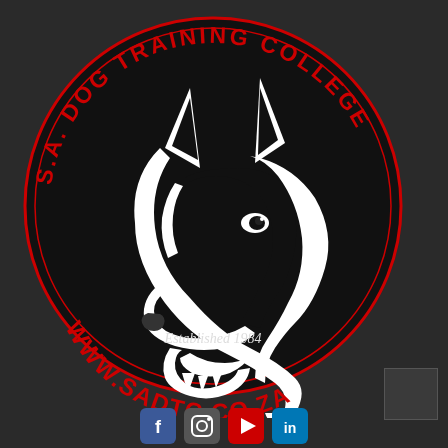[Figure (logo): S.A. Dog Training College circular logo on black background. Features a white and black illustration of a Doberman/German Shepherd dog head in profile. Red curved text at top reads 'S.A. DOG TRAINING COLLEGE'. Red text at bottom reads 'Established 1984' and 'WWW.SADTC.CO.ZA'. Social media icons visible at bottom.]